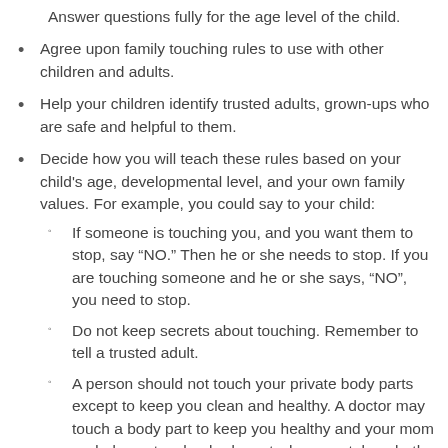Answer questions fully for the age level of the child.
Agree upon family touching rules to use with other children and adults.
Help your children identify trusted adults, grown-ups who are safe and helpful to them.
Decide how you will teach these rules based on your child's age, developmental level, and your own family values. For example, you could say to your child:
If someone is touching you, and you want them to stop, say “NO.” Then he or she needs to stop. If you are touching someone and he or she says, “NO”, you need to stop.
Do not keep secrets about touching. Remember to tell a trusted adult.
A person should not touch your private body parts except to keep you clean and healthy. A doctor may touch a body part to keep you healthy and your mom or dad may touch a body part when you take a bath to help